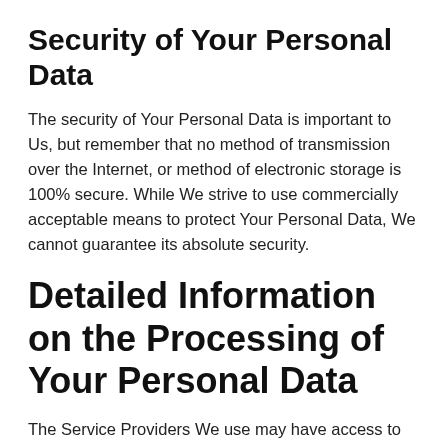Security of Your Personal Data
The security of Your Personal Data is important to Us, but remember that no method of transmission over the Internet, or method of electronic storage is 100% secure. While We strive to use commercially acceptable means to protect Your Personal Data, We cannot guarantee its absolute security.
Detailed Information on the Processing of Your Personal Data
The Service Providers We use may have access to Your Personal Data. These third-party vendors collect,